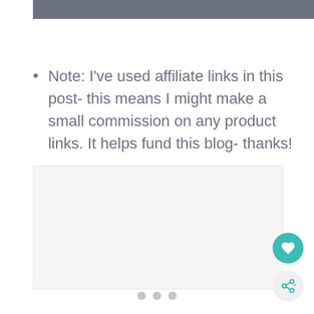[Figure (other): Gray header bar at top of page]
Note: I've used affiliate links in this post- this means I might make a small commission on any product links. It helps fund this blog- thanks!
[Figure (other): Light gray image placeholder area]
[Figure (other): Navigation dots and floating action buttons (heart and share icons)]